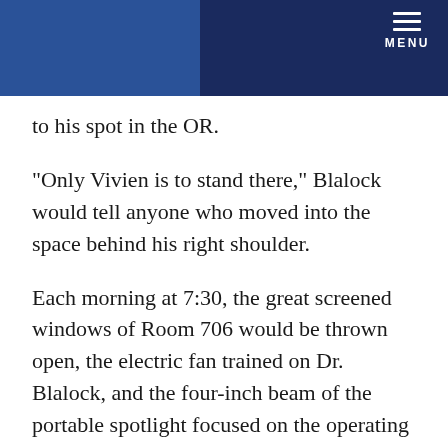MENU
to his spot in the OR.
“Only Vivien is to stand there,” Blalock would tell anyone who moved into the space behind his right shoulder.
Each morning at 7:30, the great screened windows of Room 706 would be thrown open, the electric fan trained on Dr. Blalock, and the four-inch beam of the portable spotlight focused on the operating field. At the slightest